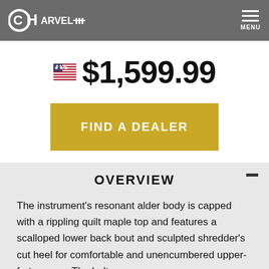Charvel | MENU
$1,599.99
FIND A DEALER
OVERVIEW
The instrument's resonant alder body is capped with a rippling quilt maple top and features a scalloped lower back bout and sculpted shredder's cut heel for comfortable and unencumbered upper-fret access. The bolt-on